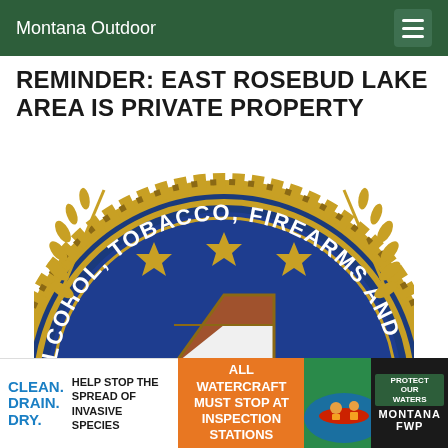Montana Outdoor
REMINDER: EAST ROSEBUD LAKE AREA IS PRIVATE PROPERTY
[Figure (logo): ATF (Alcohol, Tobacco, Firearms and Explosives) seal/badge — circular blue and gold emblem with text 'ALCOHOL, TOBACCO, FIREARMS AND' along top arc, three gold stars, wheat/laurel branches, and a shield with red, white, and blue/teal sections. Shown cropped to upper half.]
[Figure (infographic): Bottom banner advertisement with three sections: Left shows 'CLEAN. DRAIN. DRY.' in blue text with black text 'HELP STOP THE SPREAD OF INVASIVE SPECIES'. Center orange section reads 'ALL WATERCRAFT MUST STOP AT INSPECTION STATIONS'. Right dark section shows 'PROTECT OUR WATERS MONTANA FWP' with kayakers photo.]